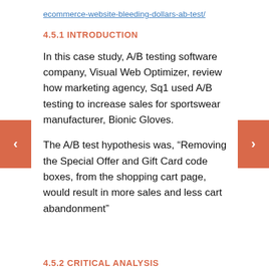ecommerce-website-bleeding-dollars-ab-test/
4.5.1 INTRODUCTION
In this case study, A/B testing software company, Visual Web Optimizer, review how marketing agency, Sq1 used A/B testing to increase sales for sportswear manufacturer, Bionic Gloves.
The A/B test hypothesis was, “Removing the Special Offer and Gift Card code boxes, from the shopping cart page, would result in more sales and less cart abandonment”
4.5.2 CRITICAL ANALYSIS